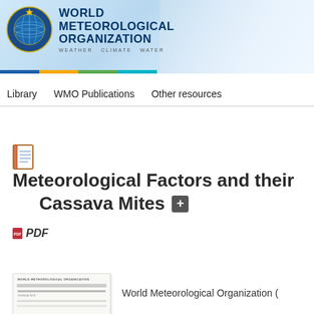[Figure (logo): World Meteorological Organization logo with emblem, organization name, and Weather Climate Water tagline, with blue/yellow/green/teal color bar]
Library   WMO Publications   Other resources
Meteorological Factors and their ... Cassava Mites
PDF
[Figure (photo): Thumbnail of WMO publication document cover]
World Meteorological Organization (